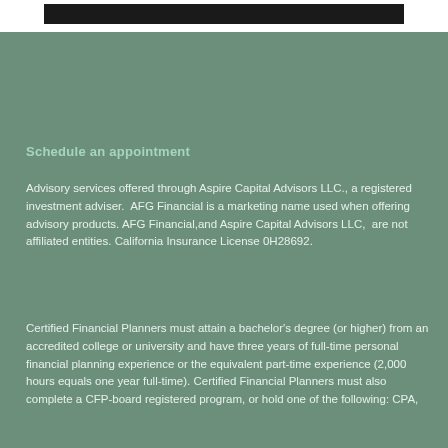Schedule an appointment
Advisory services offered through Aspire Capital Advisors LLC., a registered investment adviser.  AFG Financial is a marketing name used when offering advisory products. AFG Financial,and Aspire Capital Advisors LLC,  are not affiliated entities. California Insurance License 0H28692.
Certified Financial Planners must attain a bachelor's degree (or higher) from an accredited college or university and have three years of full-time personal financial planning experience or the equivalent part-time experience (2,000 hours equals one year full-time). Certified Financial Planners must also complete a CFP-board registered program, or hold one of the following: CPA,